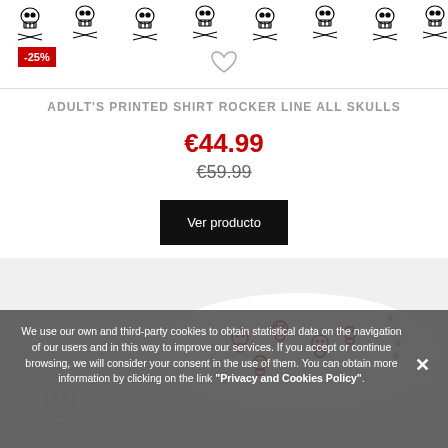[Figure (illustration): Skull and crossbones pattern banner at top of page]
-25%
[Figure (illustration): Heart/wishlist icon]
ADULT'S PRINTED SHIRT ROCKER LINE ALL SKULLS
€44.99
€59.99
Ver producto
[Figure (photo): White shirt with red skull pattern, partially folded/rolled]
We use our own and third-party cookies to obtain statistical data on the navigation of our users and in this way to improve our services. If you accept or continue browsing, we will consider your consent in the use of them. You can obtain more information by clicking on the link "Privacy and Cookies Policy".